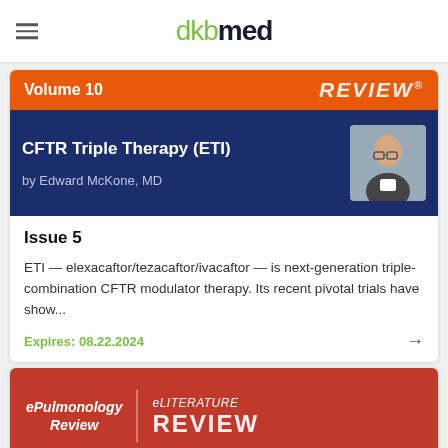dkbmed
[Figure (screenshot): dkbmed website card showing ePulmonology Review Volume 10 - CFTR Triple Therapy (ETI) by Edward McKone MD, Issue 5]
Volume 10 | REVIEW®
CFTR Triple Therapy (ETI)
by Edward McKone, MD
Issue 5
ETI — elexacaftor/tezacaftor/ivacaftor — is next-generation triple-combination CFTR modulator therapy. Its recent pivotal trials have show...
Expires: 08.22.2024
[Figure (screenshot): Bottom portion of ePulmonology Review eLITERATURE REVIEW card in red]